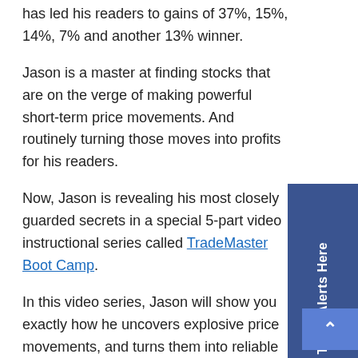has led his readers to gains of 37%, 15%, 14%, 7% and another 13% winner.
Jason is a master at finding stocks that are on the verge of making powerful short-term price movements. And routinely turning those moves into profits for his readers.
Now, Jason is revealing his most closely guarded secrets in a special 5-part video instructional series called TradeMaster Boot Camp.
In this video series, Jason will show you exactly how he uncovers explosive price movements, and turns them into reliable profits for